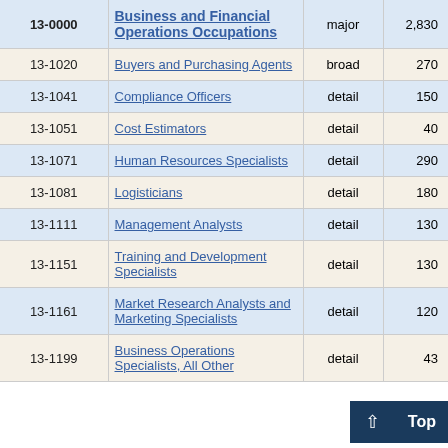| SOC Code | Occupation | Level | Employment | ... |
| --- | --- | --- | --- | --- |
| 13-0000 | Business and Financial Operations Occupations | major | 2,830 | 2... |
| 13-1020 | Buyers and Purchasing Agents | broad | 270 | 10... |
| 13-1041 | Compliance Officers | detail | 150 | 4... |
| 13-1051 | Cost Estimators | detail | 40 | 15... |
| 13-1071 | Human Resources Specialists | detail | 290 | 3... |
| 13-1081 | Logisticians | detail | 180 | 12... |
| 13-1111 | Management Analysts | detail | 130 | 11... |
| 13-1151 | Training and Development Specialists | detail | 130 | 12... |
| 13-1161 | Market Research Analysts and Marketing Specialists | detail | 120 | 16... |
| 13-1199 | Business Operations Specialists, All Other | detail | 43... | ... |